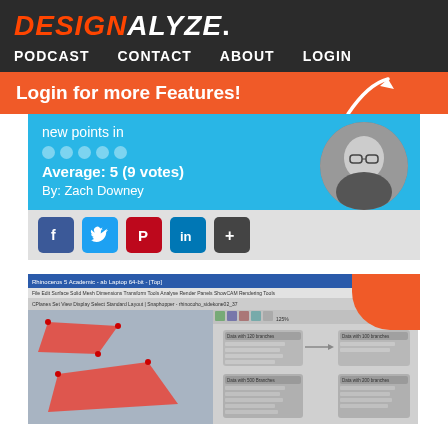DESIGNALYZE.
PODCAST  CONTACT  ABOUT  LOGIN
Login for more Features!
new points in
Average: 5 (9 votes)
By: Zach Downey
[Figure (screenshot): Software screenshot showing Rhino/Grasshopper 3D modeling interface with red polygon shapes on left and node graph panel on right]
[Figure (photo): Black and white circular author photo of a man wearing glasses holding a cat]